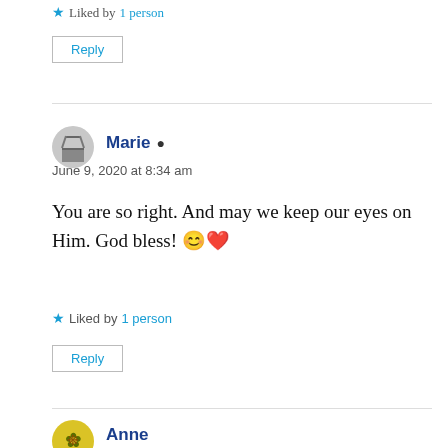★ Liked by 1 person
Reply
Marie
June 9, 2020 at 8:34 am
You are so right. And may we keep our eyes on Him. God bless! 😊❤
★ Liked by 1 person
Reply
Anne